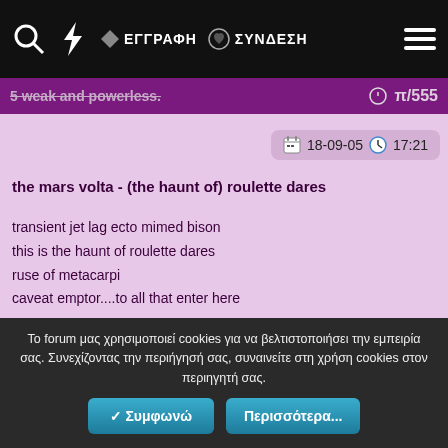ΕΓΓΡΑΦΗ   ΣΥΝΔΕΣΗ
5 weak and powerless.
18-09-05   17:21
the mars volta - (the haunt of) roulette dares
transient jet lag ecto mimed bison
this is the haunt of roulette dares
ruse of metacarpi
caveat emptor....to all that enter here
open wrist talks back again
in the wounds of its skin
Το forum μας χρησιμοποιεί cookies για να βελτιστοποιήσει την εμπειρία σας. Συνεχίζοντας την περιήγησή σας, συναινείτε στη χρήση cookies στον περιηγητή σας.